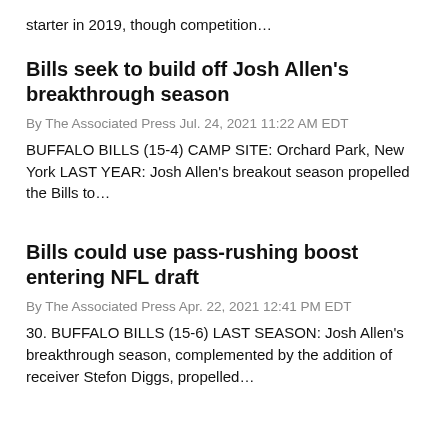starter in 2019, though competition…
Bills seek to build off Josh Allen's breakthrough season
By The Associated Press Jul. 24, 2021 11:22 AM EDT
BUFFALO BILLS (15-4) CAMP SITE: Orchard Park, New York LAST YEAR: Josh Allen's breakout season propelled the Bills to…
Bills could use pass-rushing boost entering NFL draft
By The Associated Press Apr. 22, 2021 12:41 PM EDT
30. BUFFALO BILLS (15-6) LAST SEASON: Josh Allen's breakthrough season, complemented by the addition of receiver Stefon Diggs, propelled…